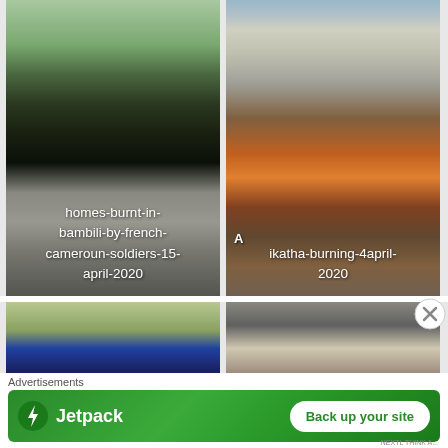[Figure (photo): Photo of burnt/destroyed area on ground – homes burnt in Bambili by French Cameroun soldiers, 15 April 2020. White overlay text on bottom of image.]
[Figure (photo): Photo of wooden building on fire – Ikatha burning, 4 April 2020. White overlay text on bottom of image.]
[Figure (photo): Partially visible photo at bottom left – appears to show people or structures in a rural area.]
[Figure (photo): Partially visible photo at bottom right – appears to show smoke or fire damage.]
Advertisements
[Figure (screenshot): Jetpack advertisement banner – green background with Jetpack logo (lightning bolt icon) and text: 'Jetpack' on the left, and a white button 'Back up your site' on the right.]